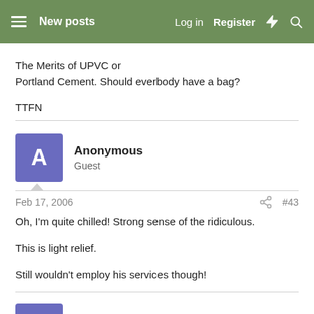New posts | Log in | Register
The Merits of UPVC or Portland Cement. Should everbody have a bag?
TTFN
Anonymous
Guest
Feb 17, 2006  #43
Oh, I'm quite chilled! Strong sense of the ridiculous.

This is light relief.

Still wouldn't employ his services though!
Anonymous
Guest